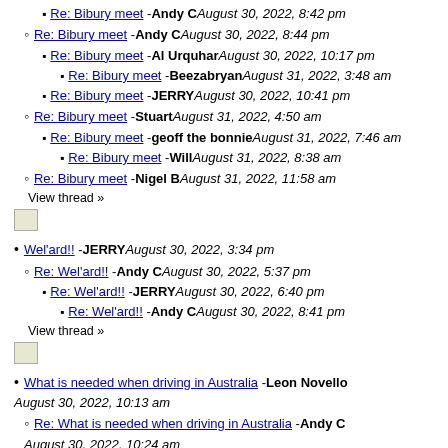Re: Bibury meet - Andy C August 30, 2022, 8:42 pm
Re: Bibury meet - Andy C August 30, 2022, 8:44 pm
Re: Bibury meet - Al Urquhar August 30, 2022, 10:17 pm
Re: Bibury meet - Beezabryan August 31, 2022, 3:48 am
Re: Bibury meet - JERRY August 30, 2022, 10:41 pm
Re: Bibury meet - Stuart August 31, 2022, 4:50 am
Re: Bibury meet - geoff the bonnie August 31, 2022, 7:46 am
Re: Bibury meet - Will August 31, 2022, 8:38 am
Re: Bibury meet - Nigel B August 31, 2022, 11:58 am
View thread »
[Figure (other): Small broken image icon]
Wel'ard!! - JERRY August 30, 2022, 3:34 pm
Re: Wel'ard!! - Andy C August 30, 2022, 5:37 pm
Re: Wel'ard!! - JERRY August 30, 2022, 6:40 pm
Re: Wel'ard!! - Andy C August 30, 2022, 8:41 pm
View thread »
[Figure (other): Small broken image icon]
What is needed when driving in Australia - Leon Novello August 30, 2022, 10:13 am
Re: What is needed when driving in Australia - Andy C August 30, 2022, 10:24 am
View thread »
[Figure (other): Small broken image icon]